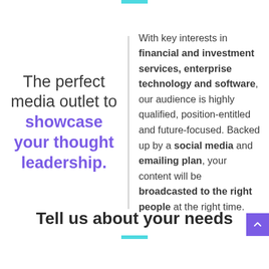The perfect media outlet to showcase your thought leadership.
With key interests in financial and investment services, enterprise technology and software, our audience is highly qualified, position-entitled and future-focused. Backed up by a social media and emailing plan, your content will be broadcasted to the right people at the right time.
Tell us about your needs